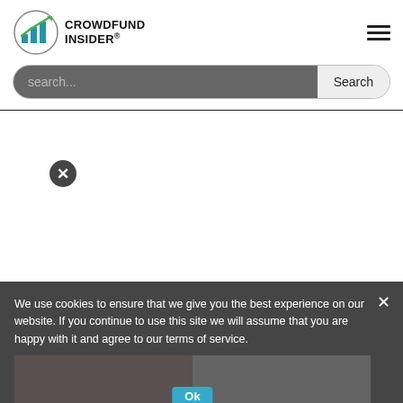[Figure (logo): Crowdfund Insider logo with bar chart icon in blue and green]
[Figure (screenshot): Hamburger menu icon (three horizontal lines)]
[Figure (screenshot): Search bar with dark gray input field and Search button]
[Figure (screenshot): Close/X button circle in dark gray]
We use cookies to ensure that we give you the best experience on our website. If you continue to use this site we will assume that you are happy with it and agree to our terms of service.
[Figure (screenshot): Video thumbnail showing two people, with Ok button overlay]